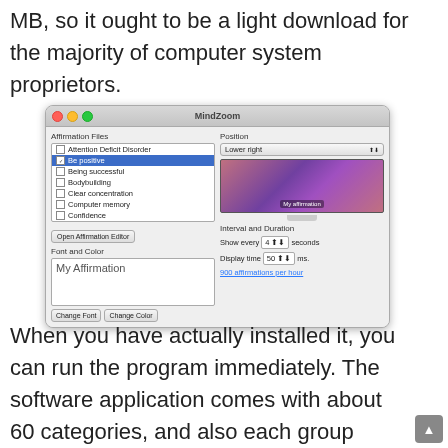MB, so it ought to be a light download for the majority of computer system proprietors.
[Figure (screenshot): MindZoom application screenshot showing a Mac OS X window with Affirmation Files list (including Attention Deficit Disorder, Be positive (selected), Being successful, Bodybuilding, Clear concentration, Computer memory, Confidence), Position dropdown set to Lower right, a monitor preview showing My affirmation, Font and Color section with My Affirmation text box and Change Font/Change Color buttons, Interval and Duration section with Show every 4 seconds and Display time 50 ms settings, and 900 affirmations per hour link.]
When you have actually installed it, you can run the program immediately. The software application comes with about 60 categories, and also each group contains prepared made